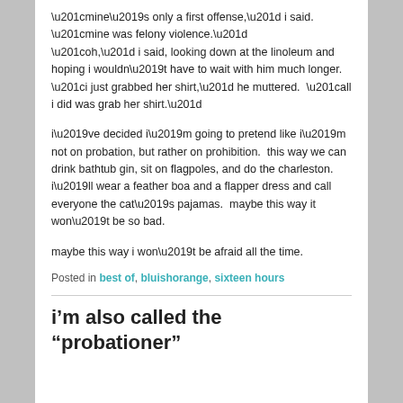“mine’s only a first offense,” i said.
“mine was felony violence.”
“oh,” i said, looking down at the linoleum and hoping i wouldn’t have to wait with him much longer.
“i just grabbed her shirt,” he muttered.  “all i did was grab her shirt.”
i’ve decided i’m going to pretend like i’m not on probation, but rather on prohibition.  this way we can drink bathtub gin, sit on flagpoles, and do the charleston.  i’ll wear a feather boa and a flapper dress and call everyone the cat’s pajamas.  maybe this way it won’t be so bad.
maybe this way i won’t be afraid all the time.
Posted in best of, bluishorange, sixteen hours
i’m also called the “probationer”